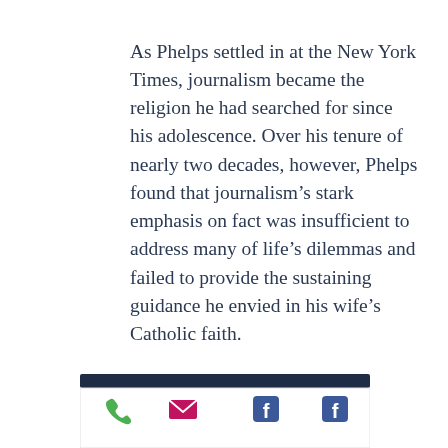As Phelps settled in at the New York Times, journalism became the religion he had searched for since his adolescence. Over his tenure of nearly two decades, however, Phelps found that journalism's stark emphasis on fact was insufficient to address many of life's dilemmas and failed to provide the sustaining guidance he envied in his wife's Catholic faith.
[Figure (infographic): Dark navy horizontal bar followed by a white footer strip containing four icons: a green phone icon, a magenta/pink envelope icon, and two blue Facebook icons.]